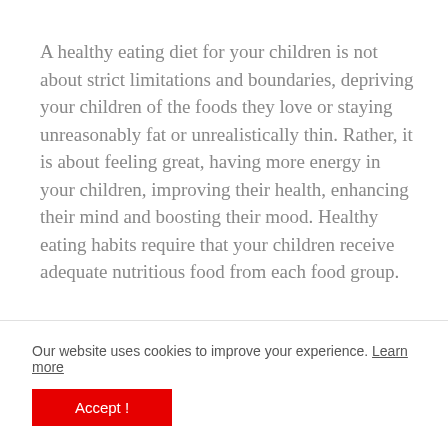A healthy eating diet for your children is not about strict limitations and boundaries, depriving your children of the foods they love or staying unreasonably fat or unrealistically thin. Rather, it is about feeling great, having more energy in your children, improving their health, enhancing their mind and boosting their mood. Healthy eating habits require that your children receive adequate nutritious food from each food group.
Our website uses cookies to improve your experience. Learn more
Accept !